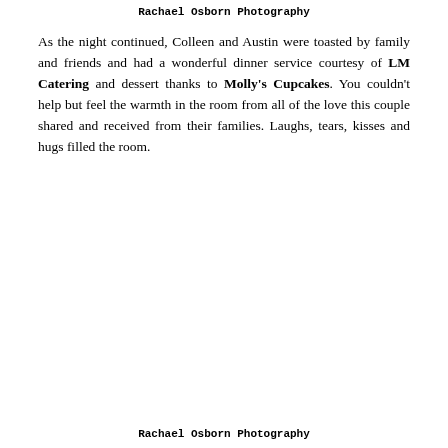Rachael Osborn Photography
As the night continued, Colleen and Austin were toasted by family and friends and had a wonderful dinner service courtesy of LM Catering and dessert thanks to Molly's Cupcakes. You couldn't help but feel the warmth in the room from all of the love this couple shared and received from their families. Laughs, tears, kisses and hugs filled the room.
Rachael Osborn Photography